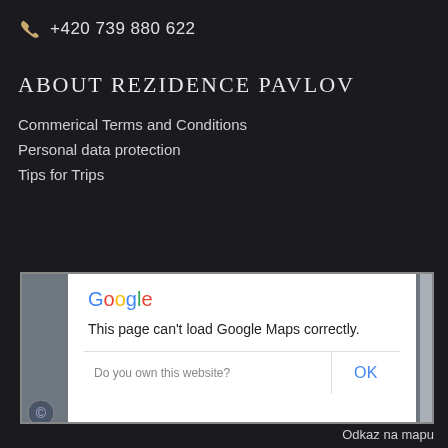+420 739 880 622
ABOUT REZIDENCE PAVLOV
Commerical Terms and Conditions
Personal data protection
Tips for Trips
[Figure (screenshot): Google Maps error dialog: 'This page can't load Google Maps correctly.' with a prompt 'Do you own this website?' and an OK button]
Odkaz na mapu